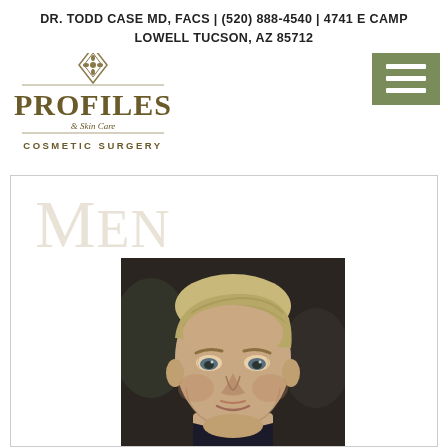DR. TODD CASE MD, FACS | (520) 888-4540 | 4741 E CAMP LOWELL TUCSON, AZ 85712
[Figure (logo): Profiles & Skin Care Cosmetic Surgery logo with diamond ornament above text]
[Figure (other): Hamburger menu button (three white horizontal lines on olive/sage green background)]
Men
[Figure (photo): Portrait photo of a middle-aged man with blond/grey hair looking at camera, dark background]